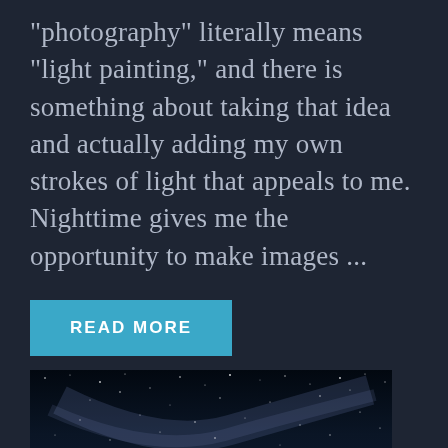"photography" literally means "light painting," and there is something about taking that idea and actually adding my own strokes of light that appeals to me. Nighttime gives me the opportunity to make images ...
READ MORE
[Figure (photo): Nighttime landscape photo showing a dark road with trees silhouetted against a night sky full of stars and the Milky Way, with warm orange light glowing on the left side near the road]